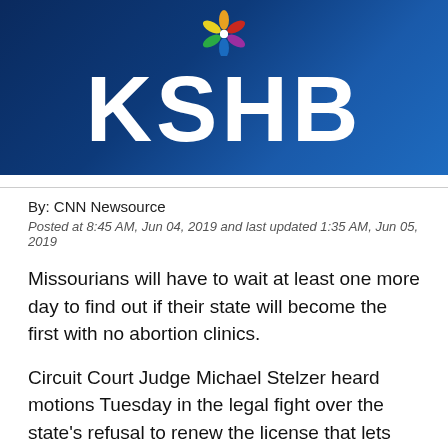[Figure (logo): KSHB NBC news station banner with large white KSHB text on dark blue background and NBC peacock logo]
By: CNN Newsource
Posted at 8:45 AM, Jun 04, 2019 and last updated 1:35 AM, Jun 05, 2019
Missourians will have to wait at least one more day to find out if their state will become the first with no abortion clinics.
Circuit Court Judge Michael Stelzer heard motions Tuesday in the legal fight over the state's refusal to renew the license that lets Reproductive Health Services of Planned Parenthood of the St. Louis Region perform abortions.